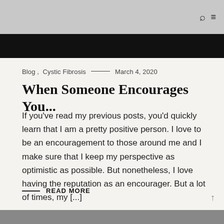[Figure (screenshot): Top navigation bar with gray background, search icon and hamburger menu icon on the right]
Blog , Cystic Fibrosis — March 4, 2020
When Someone Encourages You...
If you’ve read my previous posts, you’d quickly learn that I am a pretty positive person. I love to be an encouragement to those around me and I make sure that I keep my perspective as optimistic as possible. But nonetheless, I love having the reputation as an encourager. But a lot of times, my [...]
READ MORE